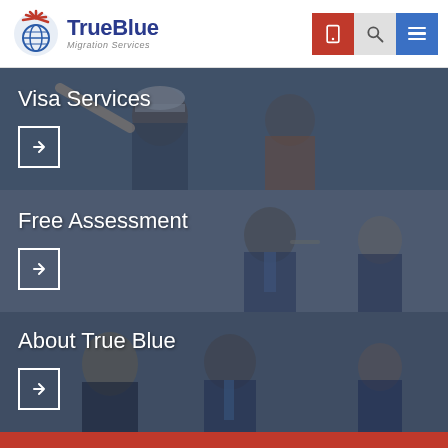TrueBlue Migration Services — site header with logo and nav icons
[Figure (screenshot): Banner image of workers in hard hats / construction setting with overlay text 'Visa Services' and arrow button]
[Figure (screenshot): Banner image of business professionals in meeting with overlay text 'Free Assessment' and arrow button]
[Figure (screenshot): Banner image of business meeting with overlay text 'About True Blue' and arrow button]
Get in touch now to find out how we can help you